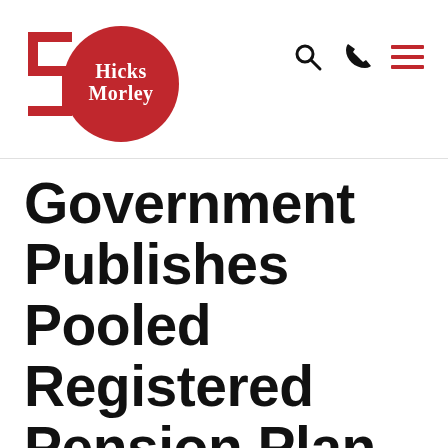[Figure (logo): Hicks Morley 50th anniversary logo — red '50' numeral with circle, white text 'Hicks Morley' inside red circle]
Government Publishes Pooled Registered Pension Plan Regulations